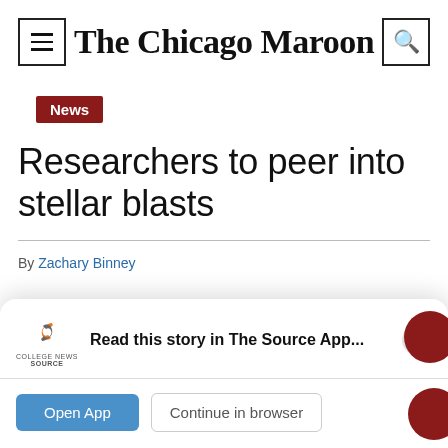The Chicago Maroon
News
Researchers to peer into stellar blasts
By Zachary Binney
Read this story in The Source App...
Open App  Continue in browser